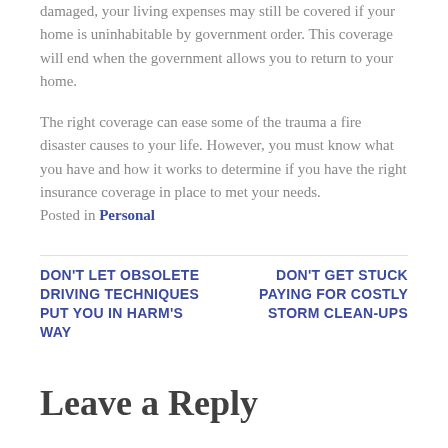damaged, your living expenses may still be covered if your home is uninhabitable by government order. This coverage will end when the government allows you to return to your home.
The right coverage can ease some of the trauma a fire disaster causes to your life. However, you must know what you have and how it works to determine if you have the right insurance coverage in place to met your needs.
Posted in Personal
DON'T LET OBSOLETE DRIVING TECHNIQUES PUT YOU IN HARM'S WAY
DON'T GET STUCK PAYING FOR COSTLY STORM CLEAN-UPS
Leave a Reply